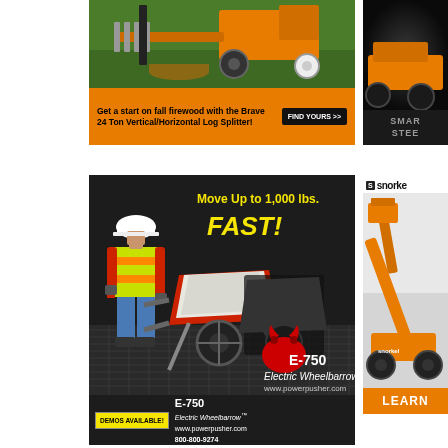[Figure (photo): Advertisement for Brave 24 Ton Vertical/Horizontal Log Splitter. Orange log splitter machine on grass background with text: 'Get a start on fall firewood with the Brave 24 Ton Vertical/Horizontal Log Splitter!' and 'FIND YOURS >>' button on orange background.]
[Figure (photo): Partial advertisement on right side showing dark background with orange machine and partial text 'SMAR' and 'STEE'.]
[Figure (photo): Advertisement for E-750 Electric Wheelbarrow by Power Pusher. Dark background with construction worker in hi-vis vest using red electric wheelbarrow. Text: 'Move Up to 1,000 lbs. FAST!' 'DEMOS AVAILABLE!' 'E-750 Electric Wheelbarrow' 'www.powerpusher.com' '800-800-9274'.]
[Figure (photo): Partial advertisement for Snorkel brand boom lift. Shows snorkel logo, orange boom lift on gray background, and 'LEARN' text on orange button at bottom.]
[Figure (photo): Partial advertisement at bottom left with dark/black background and orange shape, appears to be beginning of another ad.]
[Figure (logo): Partial advertisement at bottom right showing gold/yellow M logo on white background.]